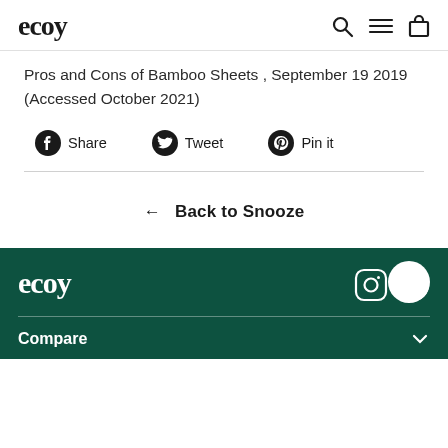ecoy
Pros and Cons of Bamboo Sheets , September 19 2019 (Accessed October 2021)
Share   Tweet   Pin it
← Back to Snooze
ecoy   Compare